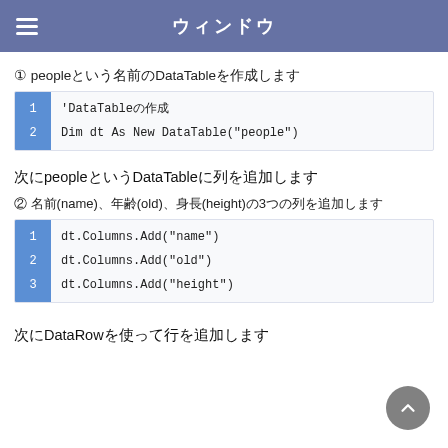ウィンドウ
① peopleという名前のDataTableを作成します
'DataTableの作成
Dim dt As New DataTable("people")
次にpeopleというDataTableに列を追加します
② 名前(name)、年齢(old)、身長(height)の3つの列を追加します
dt.Columns.Add("name")
dt.Columns.Add("old")
dt.Columns.Add("height")
次にDataRowを使って行を追加します